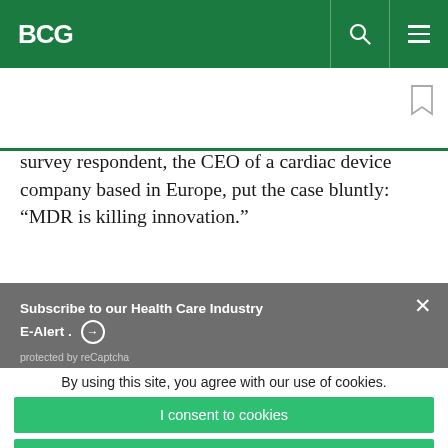BCG
survey respondent, the CEO of a cardiac device company based in Europe, put the case bluntly: “MDR is killing innovation.”
Subscribe to our Health Care Industry E-Alert . →
protected by reCaptcha
By using this site, you agree with our use of cookies.
I consent to cookies
Want to know more?
Read our Cookie Policy